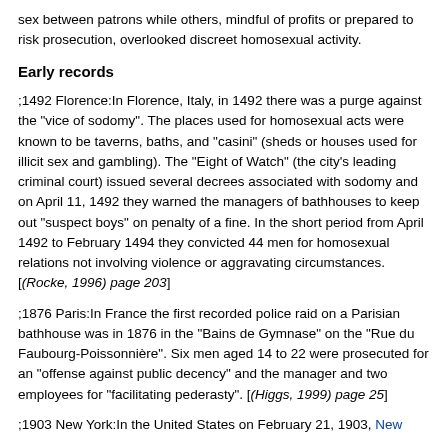sex between patrons while others, mindful of profits or prepared to risk prosecution, overlooked discreet homosexual activity.
Early records
;1492 Florence:In Florence, Italy, in 1492 there was a purge against the "vice of sodomy". The places used for homosexual acts were known to be taverns, baths, and "casini" (sheds or houses used for illicit sex and gambling). The "Eight of Watch" (the city's leading criminal court) issued several decrees associated with sodomy and on April 11, 1492 they warned the managers of bathhouses to keep out "suspect boys" on penalty of a fine. In the short period from April 1492 to February 1494 they convicted 44 men for homosexual relations not involving violence or aggravating circumstances. [(Rocke, 1996) page 203]
;1876 Paris:In France the first recorded police raid on a Parisian bathhouse was in 1876 in the "Bains de Gymnase" on the "Rue du Faubourg-Poissonnière". Six men aged 14 to 22 were prosecuted for an "offense against public decency" and the manager and two employees for "facilitating pederasty". [(Higgs, 1999) page 25]
;1903 New York:In the United States on February 21, 1903, New